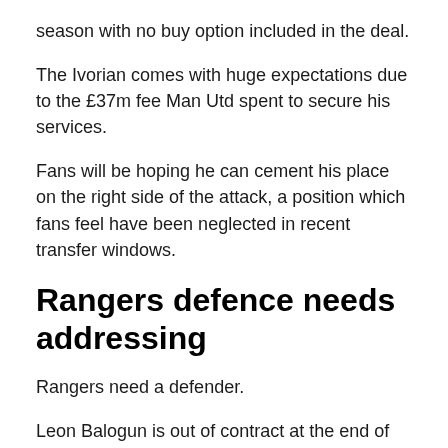season with no buy option included in the deal.
The Ivorian comes with huge expectations due to the £37m fee Man Utd spent to secure his services.
Fans will be hoping he can cement his place on the right side of the attack, a position which fans feel have been neglected in recent transfer windows.
Rangers defence needs addressing
Rangers need a defender.
Leon Balogun is out of contract at the end of the season, as is Connor Goldson.
Filip Helander is persistently injured, and Jack Simpson has been deemed surplus to requirements.